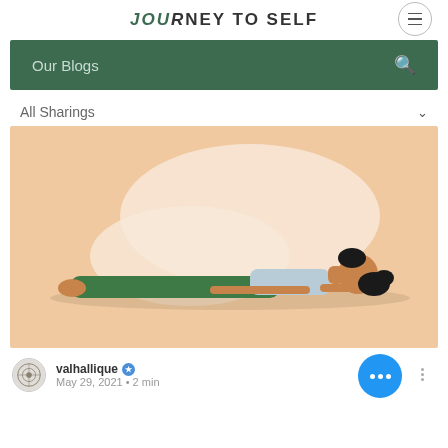JOURNEY TO SELF
Our Blogs
All Sharings
[Figure (illustration): Illustration of a woman lying flat on her back in a yoga savasana pose on a mat. She wears green pants and a light blue top with dark hair in a bun. Behind her is a large soft white organic blob shape. The background is warm peach/tan.]
valhallique ★ May 29, 2021 · 2 min